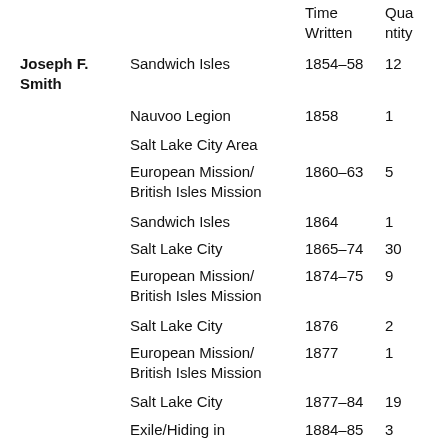|  | Location | Time Written | Quantity |
| --- | --- | --- | --- |
| Joseph F. Smith | Sandwich Isles | 1854–58 | 12 |
|  | Nauvoo Legion | 1858 | 1 |
|  | Salt Lake City Area |  |  |
|  | European Mission/
British Isles Mission | 1860–63 | 5 |
|  | Sandwich Isles | 1864 | 1 |
|  | Salt Lake City | 1865–74 | 30 |
|  | European Mission/
British Isles Mission | 1874–75 | 9 |
|  | Salt Lake City | 1876 | 2 |
|  | European Mission/
British Isles Mission | 1877 | 1 |
|  | Salt Lake City | 1877–84 | 19 |
|  | Exile/Hiding in | 1884–85 | 3 |